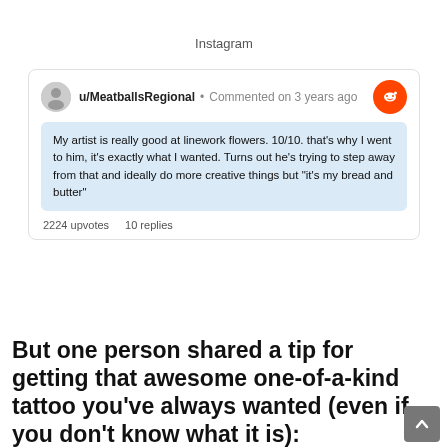Instagram
u/MeatballsRegional • Commented on 3 years ago
My artist is really good at linework flowers. 10/10. that's why I went to him, it's exactly what I wanted. Turns out he's trying to step away from that and ideally do more creative things but "it's my bread and butter"
2224 upvotes   10 replies
But one person shared a tip for getting that awesome one-of-a-kind tattoo you've always wanted (even if you don't know what it is):